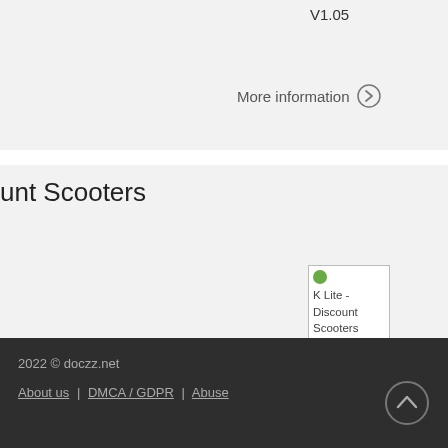V1.05
More information →
ount Scooters
[Figure (photo): Broken image placeholder labeled 'K Lite - Discount Scooters']
More information →
2022 © doczz.net
About us | DMCA / GDPR | Abuse